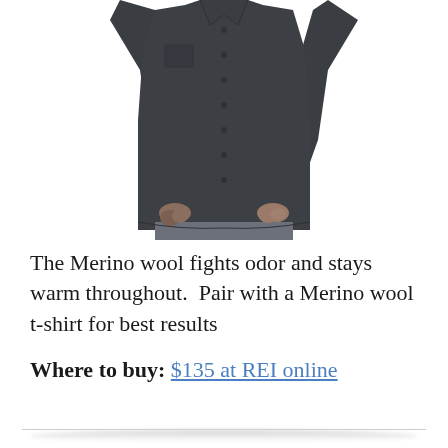[Figure (photo): A man wearing a dark charcoal grey long-sleeve button-up Merino wool shirt, cropped to show torso and hands, white background]
The Merino wool fights odor and stays warm throughout.  Pair with a Merino wool t-shirt for best results
Where to buy: $135 at REI online